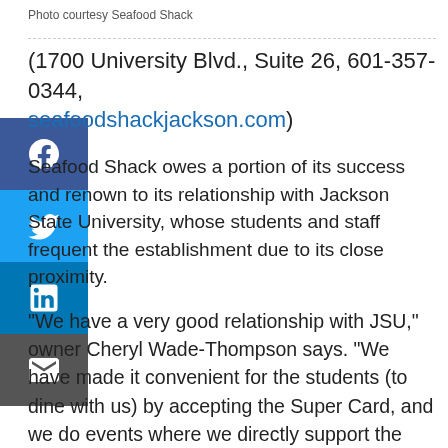Photo courtesy Seafood Shack
(1700 University Blvd., Suite 26, 601-357-0344, seafoodshackjackson.com)
Seafood Shack owes a portion of its success and renown to its relationship with Jackson State University, whose students and staff frequent the establishment due to its close proximity.
"We have a very good relationship with JSU," owner Cheryl Wade-Thompson says. "We have made it convenient for the students (to dine with us) by accepting the Super Card, and we do events where we directly support the students."
The number-one dish among student diners is the crazy